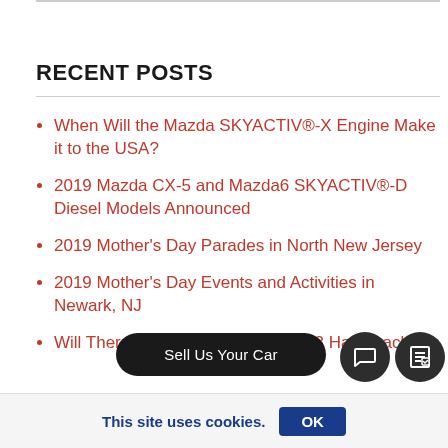RECENT POSTS
When Will the Mazda SKYACTIV®-X Engine Make it to the USA?
2019 Mazda CX-5 and Mazda6 SKYACTIV®-D Diesel Models Announced
2019 Mother's Day Parades in North New Jersey
2019 Mother's Day Events and Activities in Newark, NJ
Will There Be a 2019 Mazdaspeed3 Hatchback
This site uses cookies. OK